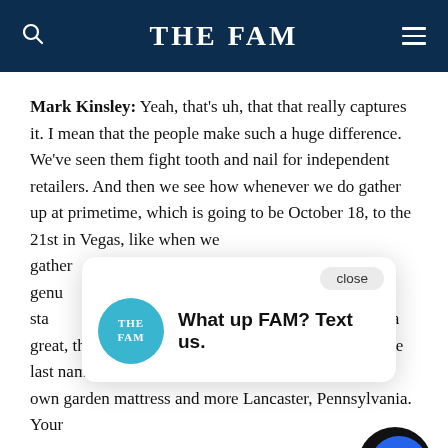THE FAM
Mark Kinsley: Yeah, that's uh, that that really captures it. I mean that the people make such a huge difference. We've seen them fight tooth and nail for independent retailers. And then we see how whenever we do gather up at primetime, which is going to be October 18, to the 21st in Vegas, like when we gather e love and genu nationwide sta so. It's cool. That's a great, that's great feedback. So Jeff, Jeff Janaka Vo, the last name that is so to spell, so wonderful to say. You own garden mattress and more Lancaster, Pennsylvania. Your